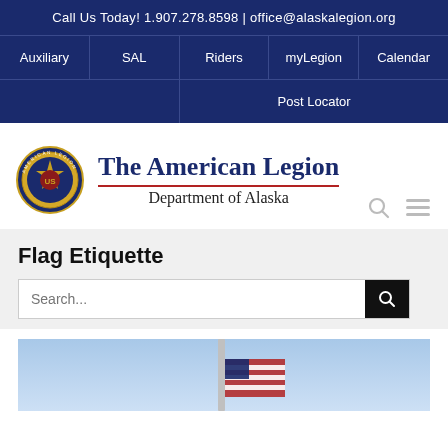Call Us Today! 1.907.278.8598 | office@alaskalegion.org
Auxiliary | SAL | Riders | myLegion | Calendar
Post Locator
[Figure (logo): The American Legion Department of Alaska logo with circular seal]
Flag Etiquette
[Figure (photo): American flag on a flagpole against a blue sky, cropped at bottom of page]